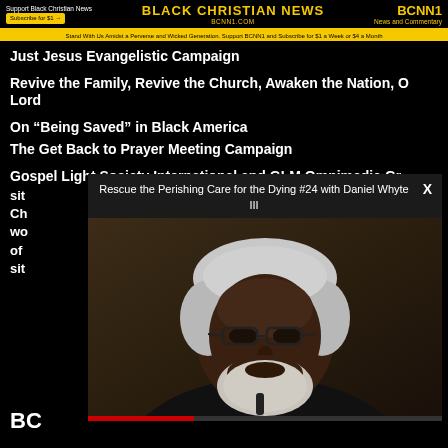Support Black Christian News | Subscribe for $1 | BLACK CHRISTIAN NEWS BCNN1.COM | BCNN1 News and Commentary
Stand With Us Amidst a Perverse and Wicked Generation. Support BCNN1 and Subscribe for $1 a Week or $4 a Month
Just Jesus Evangelistic Campaign
Revive the Family, Revive the Church, Awaken the Nation, O Lord
On “Being Saved” in Black America
The Get Back to Prayer Meeting Campaign
Gospel Light Society International and GLM Omnimedia Group
Rescue the Perishing Care for the Dying #24 with Daniel Whyte III
[Figure (screenshot): Video popup overlay showing a man with white hair, glasses and a beard, presumably Daniel Whyte III, with a close button X in the top right]
BC